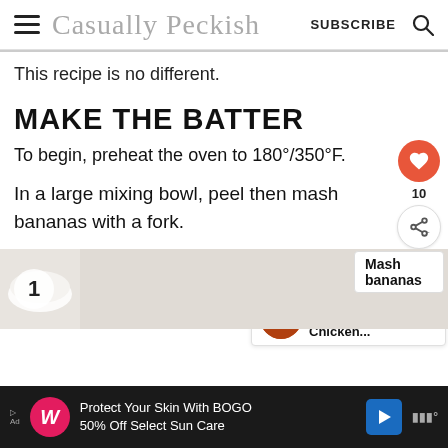Casually Peckish | SUBSCRIBE
This recipe is no different.
MAKE THE BATTER
To begin, preheat the oven to 180°/350°F.
In a large mixing bowl, peel then mash bananas with a fork.
[Figure (photo): Photo strip showing step 1 of mashing bananas with a numbered circle overlay]
Mash bananas
Protect Your Skin With BOGO 50% Off Select Sun Care